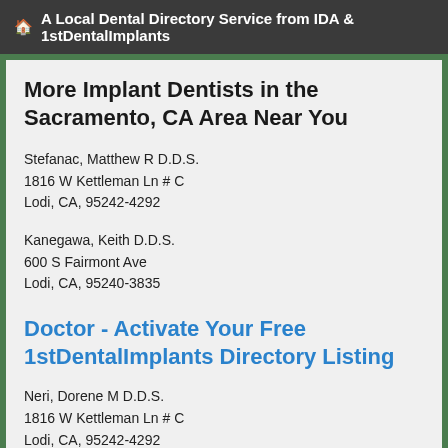A Local Dental Directory Service from IDA & 1stDentalImplants
More Implant Dentists in the Sacramento, CA Area Near You
Stefanac, Matthew R D.D.S.
1816 W Kettleman Ln # C
Lodi, CA, 95242-4292
Kanegawa, Keith D.D.S.
600 S Fairmont Ave
Lodi, CA, 95240-3835
Doctor - Activate Your Free 1stDentalImplants Directory Listing
Neri, Dorene M D.D.S.
1816 W Kettleman Ln # C
Lodi, CA, 95242-4292
William V Huiras D.D.S.
322 W Lodi Ave
Lodi, CA, 95242